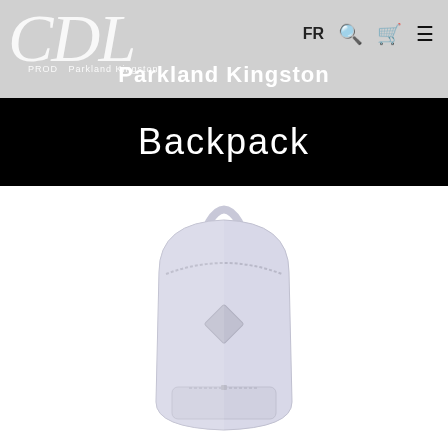CDI Prod - Parkland Kingston
Backpack
[Figure (photo): White Parkland Kingston backpack product photo on white background. The backpack is a classic rounded style with a single handle loop at the top, a main zipper compartment, a small front pocket, and a diamond-shaped logo patch in the center.]